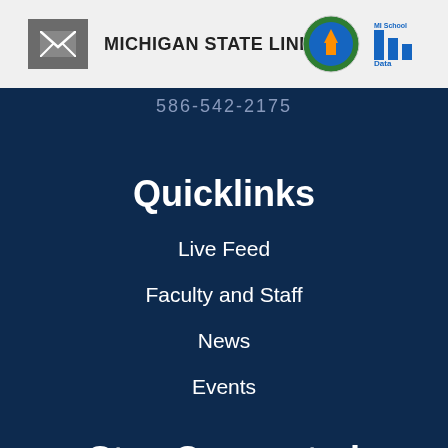MICHIGAN STATE LINKS
586-542-2175
Quicklinks
Live Feed
Faculty and Staff
News
Events
Stay Connected